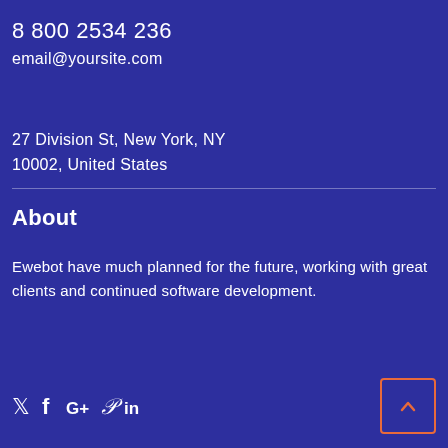8 800 2534 236
email@yoursite.com
27 Division St, New York, NY
10002, United States
About
Ewebot have much planned for the future, working with great clients and continued software development.
[Figure (other): Social media icons: Twitter, Facebook, Google+, Pinterest, LinkedIn]
[Figure (other): Back to top button with upward chevron, orange border]